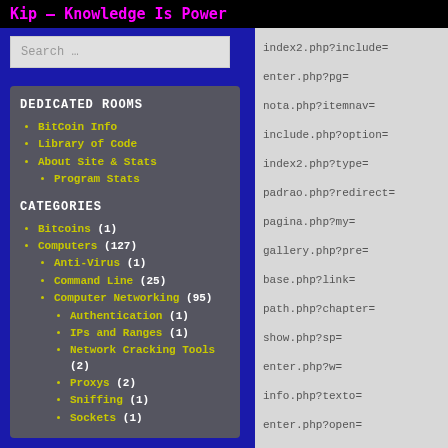Kip – Knowledge Is Power
DEDICATED ROOMS
BitCoin Info
Library of Code
About Site & Stats
Program Stats
CATEGORIES
Bitcoins (1)
Computers (127)
Anti-Virus (1)
Command Line (25)
Computer Networking (95)
Authentication (1)
IPs and Ranges (1)
Network Cracking Tools (2)
Proxys (2)
Sniffing (1)
Sockets (1)
index2.php?include=
enter.php?pg=
nota.php?itemnav=
include.php?option=
index2.php?type=
padrao.php?redirect=
pagina.php?my=
gallery.php?pre=
base.php?link=
path.php?chapter=
show.php?sp=
enter.php?w=
info.php?texto=
enter.php?open=
base.php?rub=